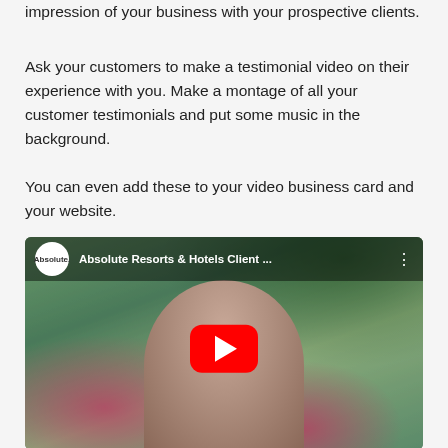impression of your business with your prospective clients.
Ask your customers to make a testimonial video on their experience with you. Make a montage of all your customer testimonials and put some music in the background.
You can even add these to your video business card and your website.
[Figure (screenshot): Embedded YouTube video thumbnail showing a woman in a red polka dot dress outdoors with tropical plants and flowers, titled 'Absolute Resorts & Hotels Client ...' with a YouTube channel logo for 'Absolute.' and a red play button in the center.]